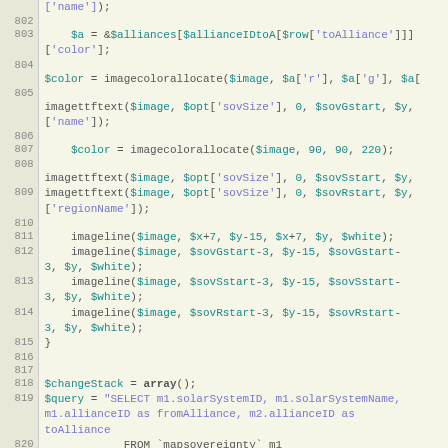[Figure (screenshot): Source code editor screenshot showing PHP code lines 802–821. The code involves image functions, color allocation, imagettftext, imageline calls, and a SQL query involving mapsovereignty table joins.]